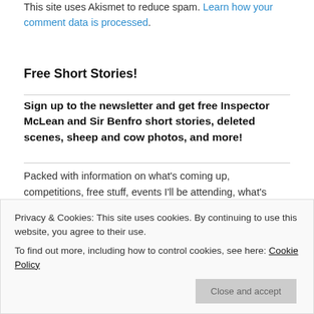This site uses Akismet to reduce spam. Learn how your comment data is processed.
Free Short Stories!
Sign up to the newsletter and get free Inspector McLean and Sir Benfro short stories, deleted scenes, sheep and cow photos, and more!
Packed with information on what's coming up, competitions, free stuff, events I'll be attending, what's happening on the farm, what I'm reading and anything else I can think of, the newsletter comes out once a month. You can, of course, unsubscribe at any time, and your email address will only ever be used for sending the newsletter, never
Privacy & Cookies: This site uses cookies. By continuing to use this website, you agree to their use. To find out more, including how to control cookies, see here: Cookie Policy